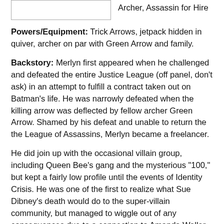Archer, Assassin for Hire
Powers/Equipment: Trick Arrows, jetpack hidden in quiver, archer on par with Green Arrow and family.
Backstory: Merlyn first appeared when he challenged and defeated the entire Justice League (off panel, don't ask) in an attempt to fulfill a contract taken out on Batman's life. He was narrowly defeated when the killing arrow was deflected by fellow archer Green Arrow. Shamed by his defeat and unable to return the the League of Assassins, Merlyn became a freelancer.
He did join up with the occasional villain group, including Queen Bee's gang and the mysterious "100," but kept a fairly low profile until the events of Identity Crisis. He was one of the first to realize what Sue Dibney's death would do to the super-villain community, but managed to wiggle out of any consequences due to a connection to Amanda Waller and her government sponsored Suicide Squad.
Merlyn most recently appeared in the pages of Green Arrow